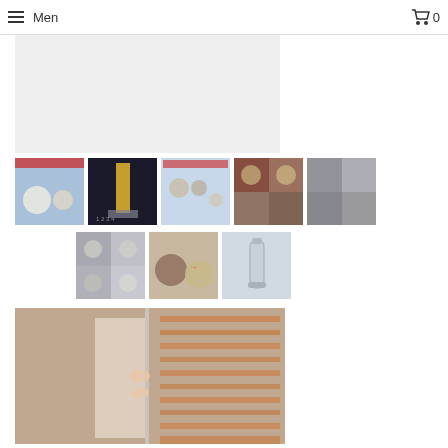Menu  0
[Figure (photo): Main product image area - light gray background, product display area]
[Figure (photo): Thumbnail 1: product with blue and white packaging showing balls/spheres]
[Figure (photo): Thumbnail 2: dark product bottle with shower/faucet]
[Figure (photo): Thumbnail 3: product packaging instruction sheet]
[Figure (photo): Thumbnail 4: copper/metal sink drain before and after]
[Figure (photo): Thumbnail 5: step by step instructions for sink drain cleaning]
[Figure (photo): Thumbnail 6: grid of 4 drain photos before/after]
[Figure (photo): Thumbnail 7: before and after circles of drain restoration]
[Figure (photo): Thumbnail 8: product bottle spray]
[Figure (photo): Large bottom photo: person pressing hands against glass panel with horizontal orange/brown stripe reflections]